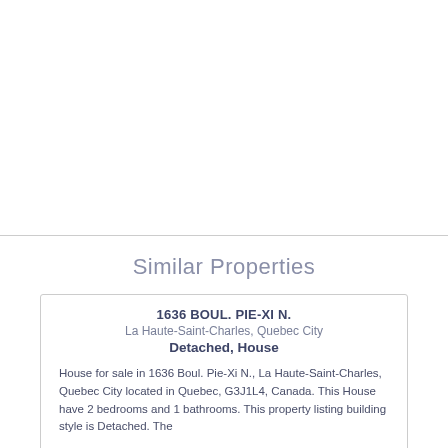[Figure (photo): Blank white space representing a photo area at the top of the page]
Similar Properties
1636 BOUL. PIE-XI N.
La Haute-Saint-Charles, Quebec City
Detached, House
House for sale in 1636 Boul. Pie-Xi N., La Haute-Saint-Charles, Quebec City located in Quebec, G3J1L4, Canada. This House have 2 bedrooms and 1 bathrooms. This property listing building style is Detached. The